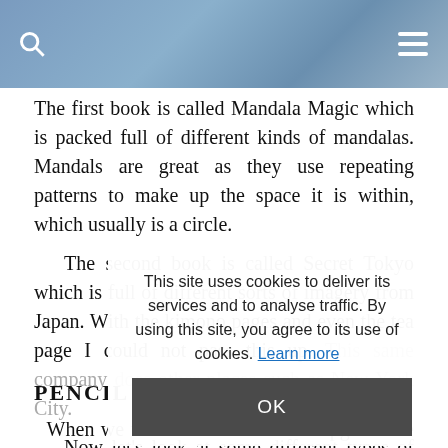The first book is called Mandala Magic which is packed full of different kinds of mandalas. Mandals are great as they use repeating patterns to make up the space it is within, which usually is a circle.
The second book is called Secret Tokyo which is full of different sorts of imagery from Japan. With the kimono pages and even the tea page I could not pass this up. This same company does other places such as New York City.
Now let's look at some different types of materials. There are so many out there but here are a few that I suggest you give a try with your coloring books.
This site uses cookies to deliver its services and to analyse traffic. By using this site, you agree to its use of cookies. Learn more
PENCIL CRAYONS
When we were kids this was the upgrade we longed